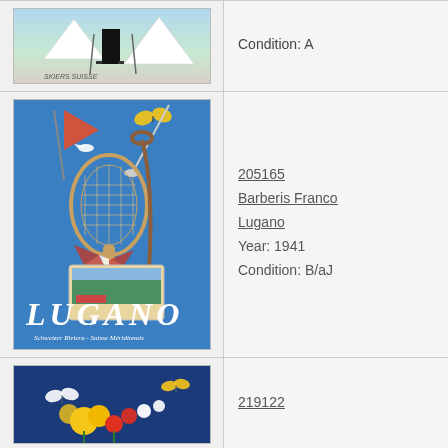[Figure (photo): Vintage Swiss ski poster showing figure with skis, mountains in background]
Condition: A
[Figure (photo): Vintage travel poster for Lugano, Switzerland by Barberis Franco, 1941, showing tennis racket, flag, cane, postcards on blue background with LUGANO text]
205165
Barberis Franco
Lugano
Year: 1941
Condition: B/aJ
[Figure (photo): Vintage spring poster showing colorful flowers and butterflies on dark blue background]
219122